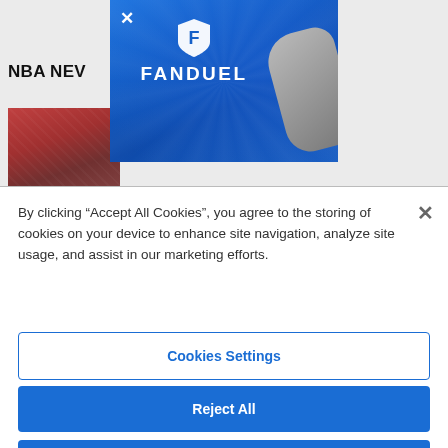[Figure (screenshot): FanDuel advertisement banner with blue background, FanDuel shield logo, and FANDUEL text, with a close X button in the top left]
NBA NEV
By clicking “Accept All Cookies”, you agree to the storing of cookies on your device to enhance site navigation, analyze site usage, and assist in our marketing efforts.
Cookies Settings
Reject All
Accept All Cookies